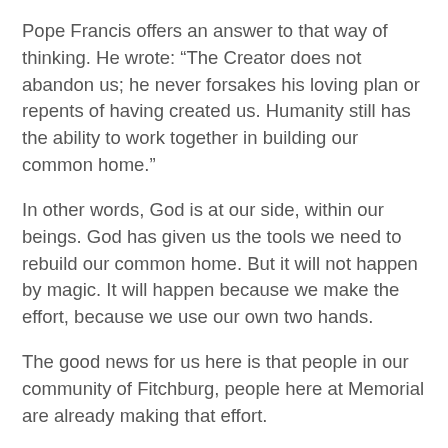Pope Francis offers an answer to that way of thinking. He wrote: “The Creator does not abandon us; he never forsakes his loving plan or repents of having created us. Humanity still has the ability to work together in building our common home.”
In other words, God is at our side, within our beings. God has given us the tools we need to rebuild our common home. But it will not happen by magic. It will happen because we make the effort, because we use our own two hands.
The good news for us here is that people in our community of Fitchburg, people here at Memorial are already making that effort.
Fitchburg was an early leader in recycling, it is a community identified with bicycling, it has worked on the planting and preservation of trees, it has a growth plan that is attentive to protecting natural resources. This is a city that encourages people to turn off idling cars, that nurtures prairies, whose new library meets very high environmental and sustainability standards.